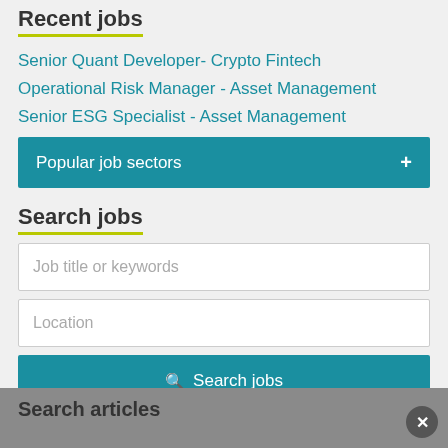Recent jobs
Senior Quant Developer- Crypto Fintech
Operational Risk Manager - Asset Management
Senior ESG Specialist - Asset Management
Popular job sectors +
Search jobs
Job title or keywords
Location
Search jobs
Search articles